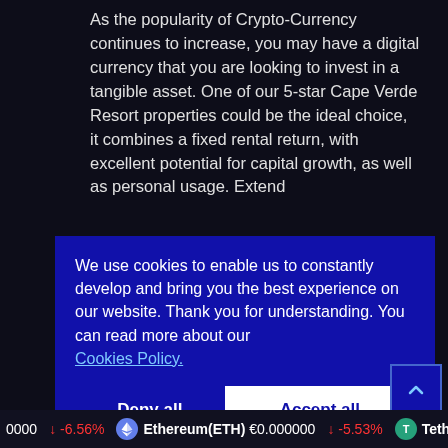As the popularity of Crypto-Currency continues to increase, you may have a digital currency that you are looking to invest in a tangible asset. One of our 5-star Cape Verde Resort properties could be the ideal choice, it combines a fixed rental return, with excellent potential for capital growth, as well as personal usage. Extend
We use cookies to enable us to constantly develop and bring you the best experience on our website. Thank you for understanding. You can read more about our Cookies Policy.
Deny all cookies   Accept all cookies
0000  -6.56%   Ethereum(ETH)  €0.000000  -5.53%   Tether